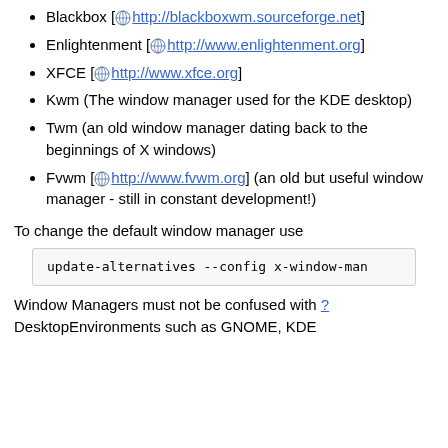Blackbox [ http://blackboxwm.sourceforge.net]
Enlightenment [ http://www.enlightenment.org]
XFCE [ http://www.xfce.org]
Kwm (The window manager used for the KDE desktop)
Twm (an old window manager dating back to the beginnings of X windows)
Fvwm [ http://www.fvwm.org] (an old but useful window manager - still in constant development!)
To change the default window manager use
update-alternatives --config x-window-man
Window Managers must not be confused with ? DesktopEnvironments such as GNOME, KDE